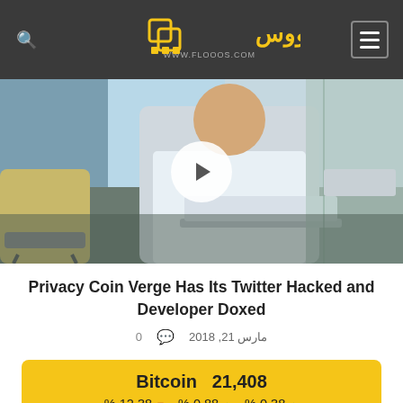فلووس - www.flooos.com
[Figure (photo): Man sitting in modern lobby using a laptop, with a play button overlay indicating a video thumbnail]
Privacy Coin Verge Has Its Twitter Hacked and Developer Doxed
مارس 21, 2018   0
Bitcoin  21,408
% 12.38▼  % 0.88▲  % 0.38▲